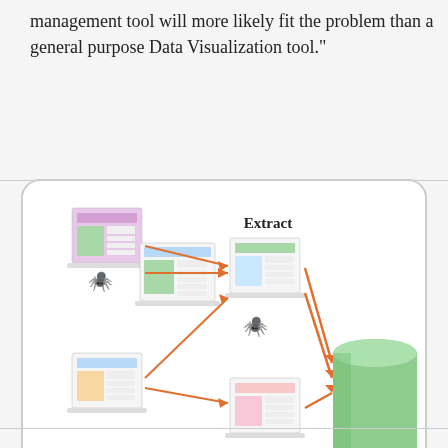management tool will more likely fit the problem than a general purpose Data Visualization tool."
[Figure (infographic): Diagram showing web crawling process: multiple web page documents on the left with spider icons crawling them, orange arrows pointing to extracted documents in the middle labeled 'Extract', then further orange arrows pointing to a green cylinder database on the right. Labels: 'Web Crawling' (bottom left) and 'Database' (bottom right).]
Yes!!
Reply